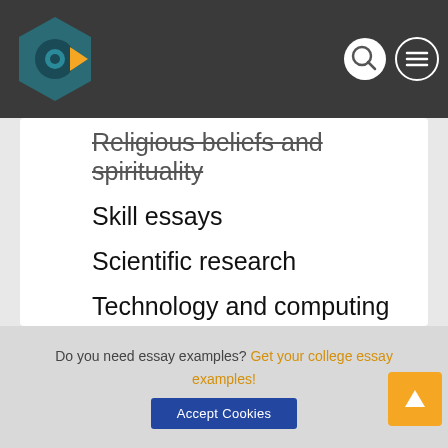Religious beliefs and spirituality
Skill essays
Scientific research
Technology and computing
Philosophy
Wellness
Marketing
Style and fashion
Do you need essay examples? Get your college essay examples!
Accept Cookies